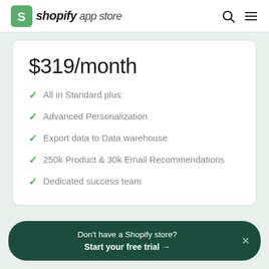shopify app store
$319/month
All in Standard plus:
Advanced Personalization
Export data to Data warehouse
250k Product & 30k Email Recommendations
Dedicated success team
Don't have a Shopify store? Start your free trial →